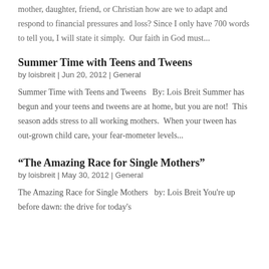mother, daughter, friend, or Christian how are we to adapt and respond to financial pressures and loss? Since I only have 700 words to tell you, I will state it simply.  Our faith in God must...
Summer Time with Teens and Tweens
by loisbreit | Jun 20, 2012 | General
Summer Time with Teens and Tweens   By: Lois Breit Summer has begun and your teens and tweens are at home, but you are not!  This season adds stress to all working mothers.  When your tween has out-grown child care, your fear-mometer levels...
“The Amazing Race for Single Mothers”
by loisbreit | May 30, 2012 | General
The Amazing Race for Single Mothers   by: Lois Breit You're up before dawn: the drive for today's